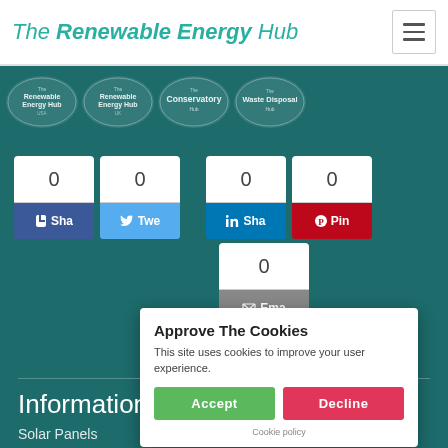The Renewable Energy Hub
[Figure (logo): Four logos: The Renewable Energy Hub USA, The Renewable Energy Hub UK, The Conservatory Hub, The Waste Disposal Hub]
[Figure (screenshot): Social share buttons: Facebook Share (0), Twitter Tweet (0), LinkedIn Share (0), Pinterest Pin (0), Email (0) — all showing count of 0]
Approve The Cookies
This site uses cookies to improve your user experience.
Accept | Decline
Cookie policy
Information
Solar Panels